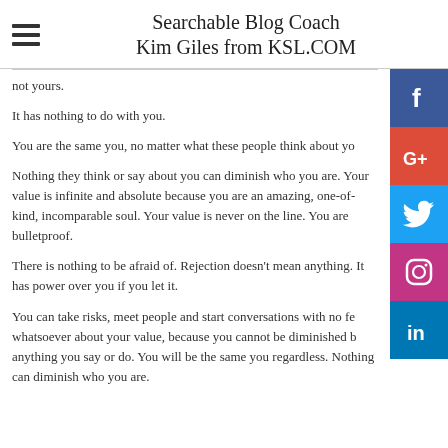Searchable Blog Coach Kim Giles from KSL.COM
not yours.
It has nothing to do with you.
You are the same you, no matter what these people think about yo…
Nothing they think or say about you can diminish who you are. Your value is infinite and absolute because you are an amazing, one-of-kind, incomparable soul. Your value is never on the line. You are bulletproof.
There is nothing to be afraid of. Rejection doesn't mean anything. It has power over you if you let it.
You can take risks, meet people and start conversations with no fear whatsoever about your value, because you cannot be diminished by anything you say or do. You will be the same you regardless. Nothing can diminish who you are.